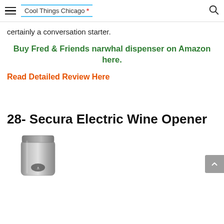Cool Things Chicago *
certainly a conversation starter.
Buy Fred & Friends narwhal dispenser on Amazon here.
Read Detailed Review Here
28- Secura Electric Wine Opener
[Figure (photo): Electric wine opener product photo - silver/stainless steel cylindrical electric wine bottle opener]